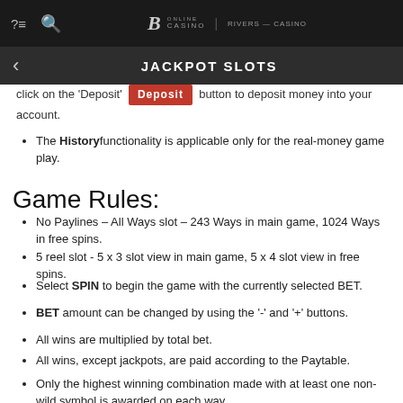JACKPOT SLOTS
click on the 'Deposit' [Deposit] button to deposit money into your account.
The History functionality is applicable only for the real-money game play.
Game Rules:
No Paylines – All Ways slot – 243 Ways in main game, 1024 Ways in free spins.
5 reel slot - 5 x 3 slot view in main game, 5 x 4 slot view in free spins.
Select SPIN to begin the game with the currently selected BET.
BET amount can be changed by using the '-' and '+' buttons.
All wins are multiplied by total bet.
All wins, except jackpots, are paid according to the Paytable.
Only the highest winning combination made with at least one non-wild symbol is awarded on each way.